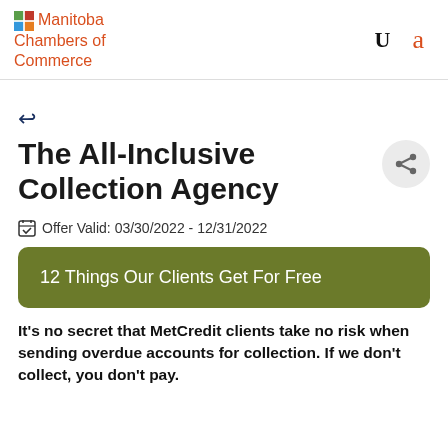Manitoba Chambers of Commerce
The All-Inclusive Collection Agency
Offer Valid: 03/30/2022 - 12/31/2022
12 Things Our Clients Get For Free
It's no secret that MetCredit clients take no risk when sending overdue accounts for collection. If we don't collect, you don't pay.